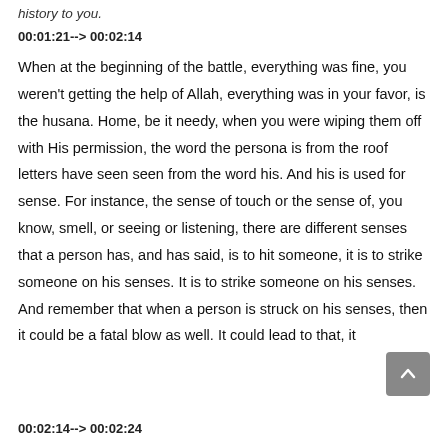history to you.
00:01:21--> 00:02:14
When at the beginning of the battle, everything was fine, you weren't getting the help of Allah, everything was in your favor, is the husana. Home, be it needy, when you were wiping them off with His permission, the word the persona is from the roof letters have seen seen from the word his. And his is used for sense. For instance, the sense of touch or the sense of, you know, smell, or seeing or listening, there are different senses that a person has, and has said, is to hit someone, it is to strike someone on his senses. It is to strike someone on his senses. And remember that when a person is struck on his senses, then it could be a fatal blow as well. It could lead to that, it
00:02:14--> 00:02:24